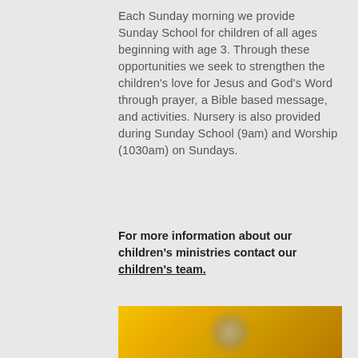Each Sunday morning we provide Sunday School for children of all ages beginning with age 3. Through these opportunities we seek to strengthen the children's love for Jesus and God's Word through prayer, a Bible based message, and activities. Nursery is also provided during Sunday School (9am) and Worship (1030am) on Sundays.
For more information about our children's ministries contact our children's team.
[Figure (photo): A blurred photo with warm yellow/orange background, partially visible at the bottom of the page.]